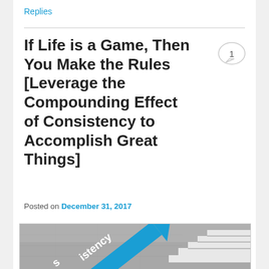Replies
If Life is a Game, Then You Make the Rules [Leverage the Compounding Effect of Consistency to Accomplish Great Things]
Posted on December 31, 2017
[Figure (photo): Blue arrow pointing upward-right with the word 'Consistency' written on it, against a concrete wall background with white staircase steps on the right side.]